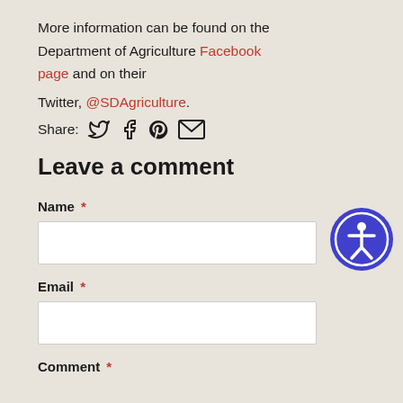More information can be found on the Department of Agriculture Facebook page and on their Twitter, @SDAgriculture.
Share: [twitter] [facebook] [pinterest] [email]
Leave a comment
Name *
Email *
Comment *